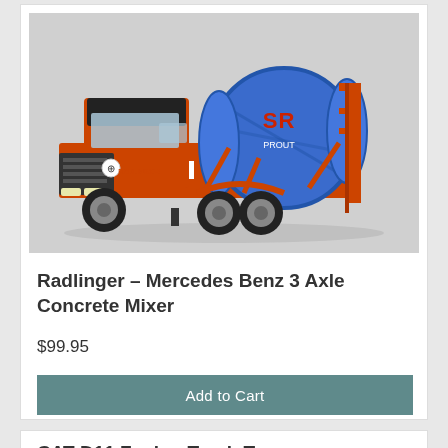[Figure (photo): Orange and blue toy Mercedes Benz cement mixer truck (Radlinger livery) on white background]
Radlinger - Mercedes Benz 3 Axle Concrete Mixer
$99.95
Add to Cart
CAT D11 Fusion Track-Type